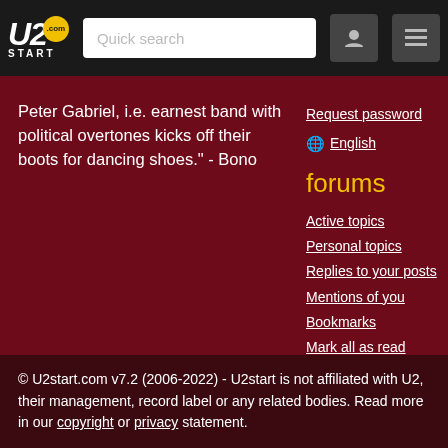U2.com START | Quick search | [user icon] [menu icon]
Peter Gabriel, i.e. earnest band with political overtones kicks off their boots for dancing shoes." - Bono
Request password
English
forums
Active topics
Personal topics
Replies to your posts
Mentions of you
Bookmarks
Mark all as read
U2start
FAQ and information
© U2start.com v7.2 (2006-2022) - U2start is not affiliated with U2, their management, record label or any related bodies. Read more in our copyright or privacy statement.